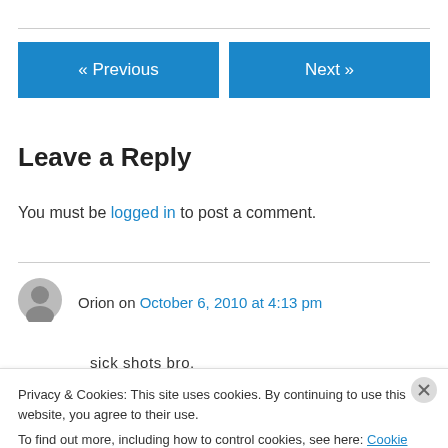« Previous
Next »
Leave a Reply
You must be logged in to post a comment.
Orion on October 6, 2010 at 4:13 pm
sick shots bro.
Privacy & Cookies: This site uses cookies. By continuing to use this website, you agree to their use.
To find out more, including how to control cookies, see here: Cookie Policy
Close and accept